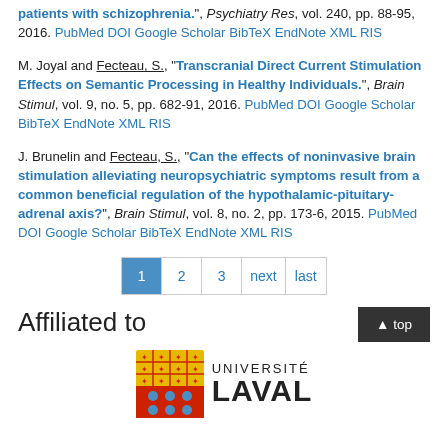patients with schizophrenia.", Psychiatry Res, vol. 240, pp. 88-95, 2016. PubMed DOI Google Scholar BibTeX EndNote XML RIS
M. Joyal and Fecteau, S., "Transcranial Direct Current Stimulation Effects on Semantic Processing in Healthy Individuals.", Brain Stimul, vol. 9, no. 5, pp. 682-91, 2016. PubMed DOI Google Scholar BibTeX EndNote XML RIS
J. Brunelin and Fecteau, S., "Can the effects of noninvasive brain stimulation alleviating neuropsychiatric symptoms result from a common beneficial regulation of the hypothalamic-pituitary-adrenal axis?", Brain Stimul, vol. 8, no. 2, pp. 173-6, 2015. PubMed DOI Google Scholar BibTeX EndNote XML RIS
Pagination: 1 2 3 next last
Affiliated to
[Figure (logo): Université Laval logo with shield and text]